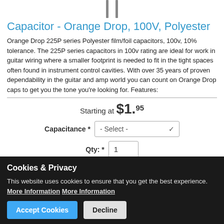[Figure (photo): Partial image of capacitor leads/pins at top of page]
Capacitor - Orange Drop, 100V, Polyester
Orange Drop 225P series Polyester film/foil capacitors, 100v, 10% tolerance. The 225P series capacitors in 100v rating are ideal for work in guitar wiring where a smaller footprint is needed to fit in the tight spaces often found in instrument control cavities. With over 35 years of proven dependability in the guitar and amp world you can count on Orange Drop caps to get you the tone you're looking for. Features:
Starting at $1.95
Capacitance * - Select -
Qty: * 1
+ Add to cart
Cookies & Privacy
This website uses cookies to ensure that you get the best experience. More Information More Information
Accept Cookies   Decline